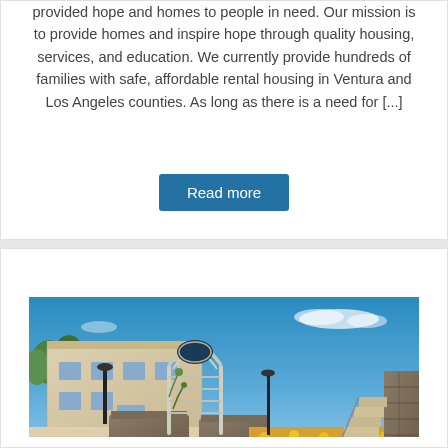provided hope and homes to people in need. Our mission is to provide homes and inspire hope through quality housing, services, and education. We currently provide hundreds of families with safe, affordable rental housing in Ventura and Los Angeles counties. As long as there is a need for [...]
Read more
[Figure (photo): Outdoor courtyard of a residential housing complex showing a decorative metal arch/trellis, flowering garden beds with orange marigolds, stone planter boxes, landscaping, a multi-story stucco building on the left, and a stone staircase on the right, under a bright blue sky.]